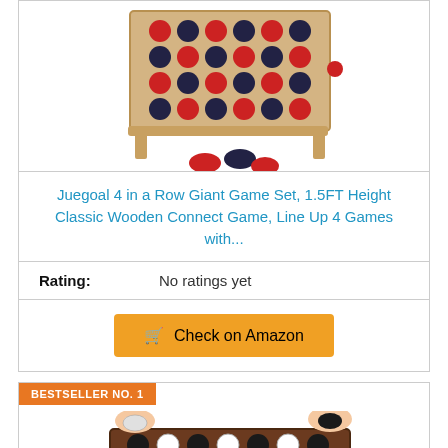[Figure (photo): Juegoal 4 in a Row Giant wooden game set with red and black discs]
Juegoal 4 in a Row Giant Game Set, 1.5FT Height Classic Wooden Connect Game, Line Up 4 Games with...
Rating: No ratings yet
Check on Amazon
BESTSELLER NO. 1
[Figure (photo): Connect 4 wooden board game with dark brown frame and black/white discs, hands dropping pieces]